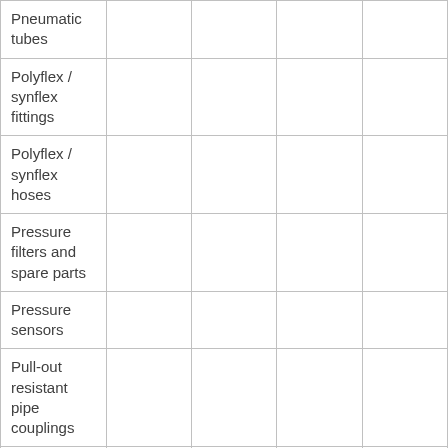| Pneumatic tubes |  |  |  |  |
| Polyflex / synflex fittings |  |  |  |  |
| Polyflex / synflex hoses |  |  |  |  |
| Pressure filters and spare parts |  |  |  |  |
| Pressure sensors |  |  |  |  |
| Pull-out resistant pipe couplings |  |  |  |  |
| Pumps and engines |  |  |  |  |
| Quick-lock couplings |  |  |  |  |
| Return filters and spare parts |  |  |  |  |